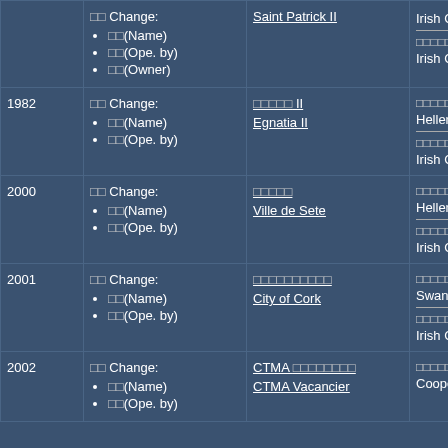| Year | Change | Ship Name | Owner/Operator |
| --- | --- | --- | --- |
|  | □□ Change:
□□(Name)
□□(Ope. by)
□□(Owner) | Saint Patrick II | Irish Cor...
□□□□□□□□□□
Irish Cor... |
| 1982 | □□ Change:
□□(Name)
□□(Ope. by) | □□□□□ II
Egnatia II | □□□□□□□□□□
Hellenic...
□□□□□□□□□□
Irish Cor... |
| 2000 | □□ Change:
□□(Name)
□□(Ope. by) | □□□□□
Ville de Sete | □□□□□□□□□□
Hellenic...
□□□□□□□□□□
Irish Cor... |
| 2001 | □□ Change:
□□(Name)
□□(Ope. by) | □□□□□□□□□□
City of Cork | □□□□□□□□□□
Swansea...
□□□□□□□□□□
Irish Cor... |
| 2002 | □□ Change:
□□(Name)
□□(Ope. by) | CTMA □□□□□□□□
CTMA Vacancier | □□□□□□□□□□
Coopera... |